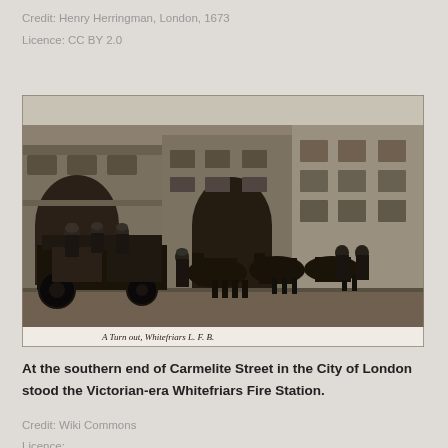Credit: Henry Herringman, London, 1673
Licence: CC BY 2.0
[Figure (photo): Black and white historical photograph of firefighters on horse-drawn fire engines outside Whitefriars Fire Station in London. Caption at bottom reads: A Turn out, Whitefriars L.F.B.]
At the southern end of Carmelite Street in the City of London stood the Victorian-era Whitefriars Fire Station.
Credit: Wiki Commons
Licence: